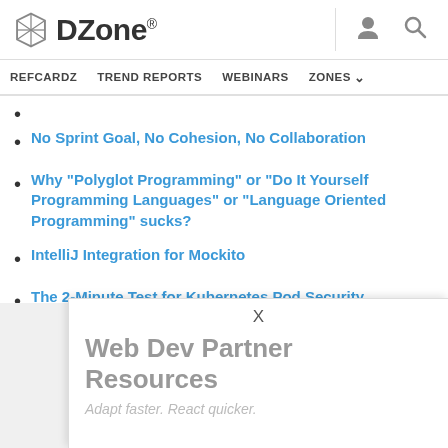DZone. [user icon] [search icon]
REFCARDZ   TREND REPORTS   WEBINARS   ZONES ˅
No Sprint Goal, No Cohesion, No Collaboration
Why "Polyglot Programming" or "Do It Yourself Programming Languages" or "Language Oriented Programming" sucks?
IntelliJ Integration for Mockito
The 2-Minute Test for Kubernetes Pod Security
X
Web Dev Partner Resources
Adapt faster. React quicker.